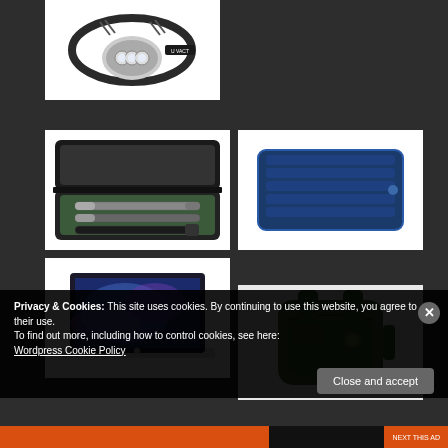[Figure (photo): Headlamp product image - LED headlamp with black elastic strap on white background]
[Figure (photo): Pen and flashlight gift set in black case on white background]
[Figure (photo): Blue inflatable air mattress on white background]
[Figure (photo): MacBook Air laptop with blue/purple wallpaper on white background]
[Figure (photo): Green/olive camping backpack on light background]
Privacy & Cookies: This site uses cookies. By continuing to use this website, you agree to their use.
To find out more, including how to control cookies, see here:
Wordpress Cookie Policy
Close and accept